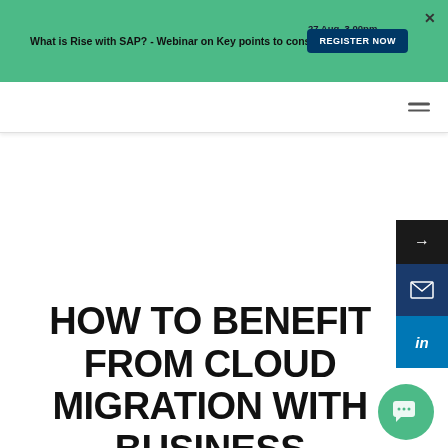What is Rise with SAP? - Webinar on Key points to consider | 27 Aug. 3.00pm BST | REGISTER NOW
[Figure (screenshot): Website navigation bar with hamburger menu]
[Figure (screenshot): Right side social/action panel with arrow, email, and LinkedIn buttons]
HOW TO BENEFIT FROM CLOUD MIGRATION WITH BUSINESS TRANSFORMATION?
[Figure (other): Green circular chat bubble icon in bottom right]